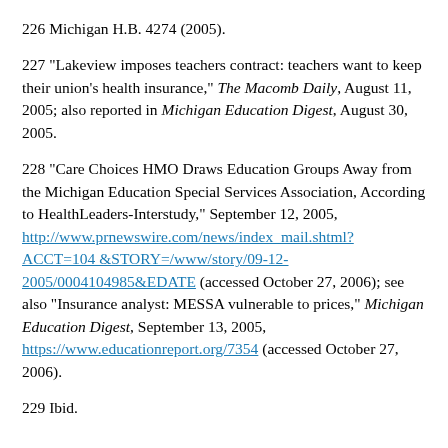226 Michigan H.B. 4274 (2005).
227 "Lakeview imposes teachers contract: teachers want to keep their union's health insurance," The Macomb Daily, August 11, 2005; also reported in Michigan Education Digest, August 30, 2005.
228 "Care Choices HMO Draws Education Groups Away from the Michigan Education Special Services Association, According to HealthLeaders-Interstudy," September 12, 2005, http://www.prnewswire.com/news/index_mail.shtml?ACCT=104 &STORY=/www/story/09-12-2005/0004104985&EDATE (accessed October 27, 2006); see also "Insurance analyst: MESSA vulnerable to prices," Michigan Education Digest, September 13, 2005, https://www.educationreport.org/7354 (accessed October 27, 2006).
229 Ibid.